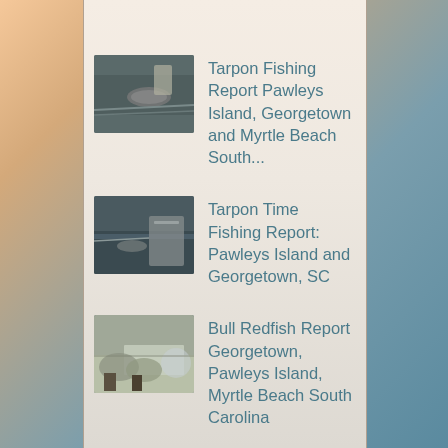Tarpon Fishing Report Pawleys Island, Georgetown and Myrtle Beach South...
Tarpon Time Fishing Report: Pawleys Island and Georgetown, SC
Bull Redfish Report Georgetown, Pawleys Island, Myrtle Beach South Carolina